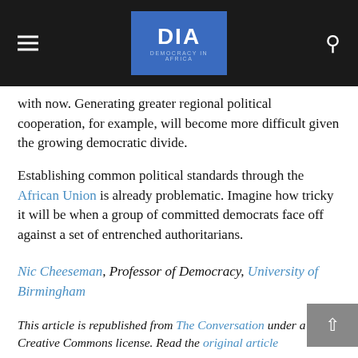DIA — Democracy in Africa
with now. Generating greater regional political cooperation, for example, will become more difficult given the growing democratic divide.
Establishing common political standards through the African Union is already problematic. Imagine how tricky it will be when a group of committed democrats face off against a set of entrenched authoritarians.
Nic Cheeseman, Professor of Democracy, University of Birmingham
This article is republished from The Conversation under a Creative Commons license. Read the original article